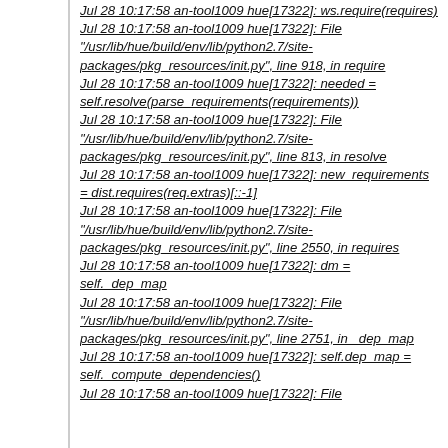Jul 28 10:17:58 an-tool1009 hue[17322]: ws.require(requires)
Jul 28 10:17:58 an-tool1009 hue[17322]: File "/usr/lib/hue/build/env/lib/python2.7/site-packages/pkg_resources/init.py", line 918, in require
Jul 28 10:17:58 an-tool1009 hue[17322]: needed = self.resolve(parse_requirements(requirements))
Jul 28 10:17:58 an-tool1009 hue[17322]: File "/usr/lib/hue/build/env/lib/python2.7/site-packages/pkg_resources/init.py", line 813, in resolve
Jul 28 10:17:58 an-tool1009 hue[17322]: new_requirements = dist.requires(req.extras)[::-1]
Jul 28 10:17:58 an-tool1009 hue[17322]: File "/usr/lib/hue/build/env/lib/python2.7/site-packages/pkg_resources/init.py", line 2550, in requires
Jul 28 10:17:58 an-tool1009 hue[17322]: dm = self._dep_map
Jul 28 10:17:58 an-tool1009 hue[17322]: File "/usr/lib/hue/build/env/lib/python2.7/site-packages/pkg_resources/init.py", line 2751, in _dep_map
Jul 28 10:17:58 an-tool1009 hue[17322]: self.dep_map = self._compute_dependencies()
Jul 28 10:17:58 an-tool1009 hue[17322]: File